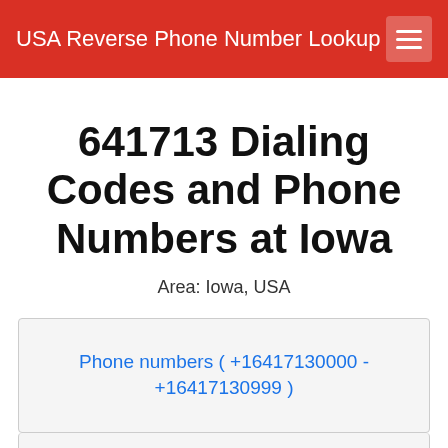USA Reverse Phone Number Lookup
641713 Dialing Codes and Phone Numbers at Iowa
Area: Iowa, USA
Phone numbers ( +16417130000 - +16417130999 )
Phone numbers ( +16417131000 -